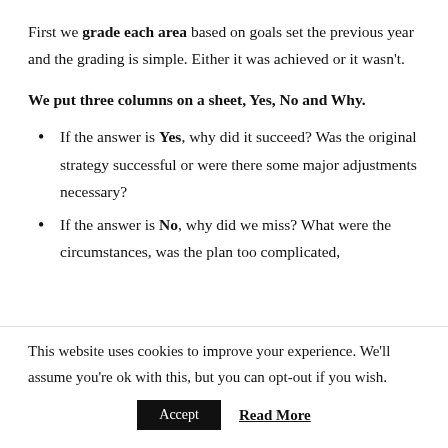First we grade each area based on goals set the previous year and the grading is simple. Either it was achieved or it wasn't.
We put three columns on a sheet, Yes, No and Why.
If the answer is Yes, why did it succeed? Was the original strategy successful or were there some major adjustments necessary?
If the answer is No, why did we miss? What were the circumstances, was the plan too complicated,
This website uses cookies to improve your experience. We'll assume you're ok with this, but you can opt-out if you wish.